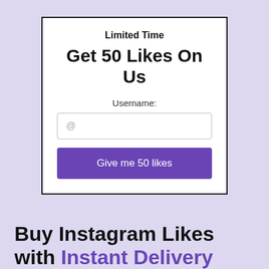Limited Time
Get 50 Likes On Us
Username:
[Figure (screenshot): Text input field with placeholder '@']
Give me 50 likes
Buy Instagram Likes with Instant Delivery